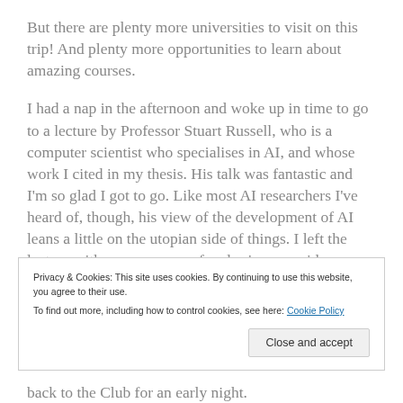But there are plenty more universities to visit on this trip! And plenty more opportunities to learn about amazing courses.
I had a nap in the afternoon and woke up in time to go to a lecture by Professor Stuart Russell, who is a computer scientist who specialises in AI, and whose work I cited in my thesis. His talk was fantastic and I'm so glad I got to go. Like most AI researchers I've heard of, though, his view of the development of AI leans a little on the utopian side of things. I left the lecture with so many new sf and sci-comms ideas.
Privacy & Cookies: This site uses cookies. By continuing to use this website, you agree to their use.
To find out more, including how to control cookies, see here: Cookie Policy
back to the Club for an early night.